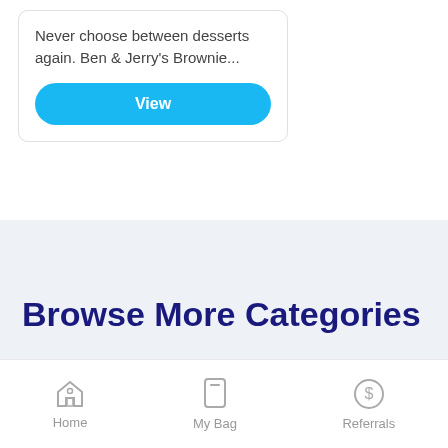Never choose between desserts again. Ben & Jerry's Brownie...
View
Browse More Categories
Ready to order?
Sign In
Sign Up
Home
My Bag
Referrals